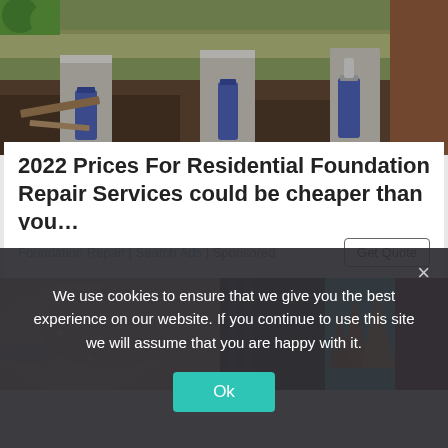[Figure (photo): A house foundation being lifted with hydraulic jacks on concrete blocks, showing dirt ground, wooden beams, and blue hydraulic jack equipment underneath the structure.]
2022 Prices For Residential Foundation Repair Services could be cheaper than you...
Foundation Repair | Search Ads | Sponsored
[Figure (photo): Bottom strip showing two images side by side: left image shows a close-up of skin with small droplets, right side shows orange/teal triangular shapes on black background and a dark red/maroon image.]
We use cookies to ensure that we give you the best experience on our website. If you continue to use this site we will assume that you are happy with it.